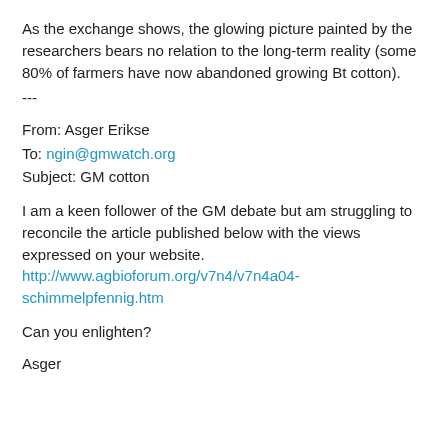As the exchange shows, the glowing picture painted by the researchers bears no relation to the long-term reality (some 80% of farmers have now abandoned growing Bt cotton).
---
From: Asger Erikse
To: ngin@gmwatch.org
Subject: GM cotton
I am a keen follower of the GM debate but am struggling to reconcile the article published below with the views expressed on your website.
http://www.agbioforum.org/v7n4/v7n4a04-schimmelpfennig.htm
Can you enlighten?
Asger